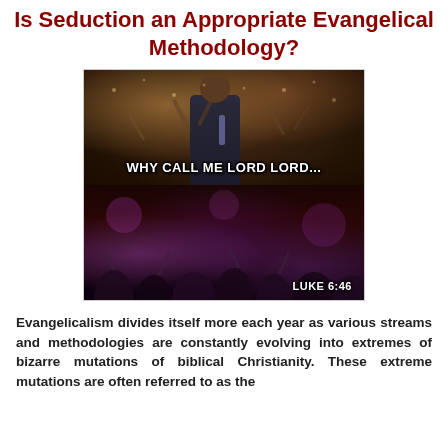Is Seduction an Appropriate Evangelical Methodology?
[Figure (photo): A meme image with two photographs of evangelical church crowds with hands raised in worship. Overlaid text reads: 'WHY CALL ME LORD LORD... AND DO NOT THE THINGS WHICH I SAY?' with 'LUKE 6:46' in the bottom right corner.]
Evangelicalism divides itself more each year as various streams and methodologies are constantly evolving into extremes of bizarre mutations of biblical Christianity. These extreme mutations are often referred to as the